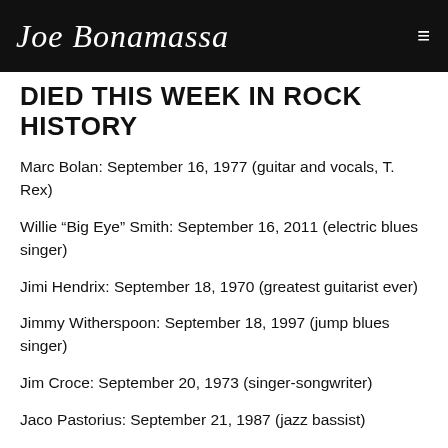Joe Bonamassa
DIED THIS WEEK IN ROCK HISTORY
Marc Bolan: September 16, 1977 (guitar and vocals, T. Rex)
Willie “Big Eye” Smith: September 16, 2011 (electric blues singer)
Jimi Hendrix: September 18, 1970 (greatest guitarist ever)
Jimmy Witherspoon: September 18, 1997 (jump blues singer)
Jim Croce: September 20, 1973 (singer-songwriter)
Jaco Pastorius: September 21, 1987 (jazz bassist)
NEW RELEASES & TOP OF THE CHARTS
The Jimi Hendrix Experience’s LP Are You Experienced? enters the charts: September 16,